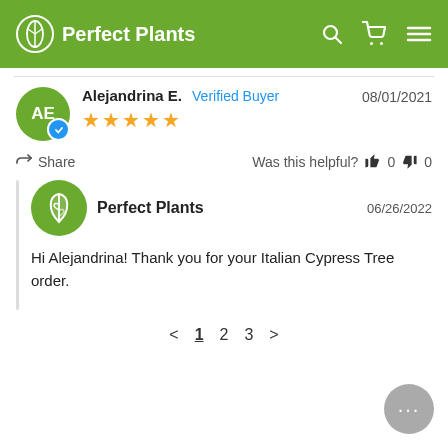Perfect Plants
Alejandrina E.  Verified Buyer  08/01/2021  ★★★★★
Share  Was this helpful?  👍 0  👎 0
Perfect Plants  06/26/2022
Hi Alejandrina! Thank you for your Italian Cypress Tree order.
< 1 2 3 >